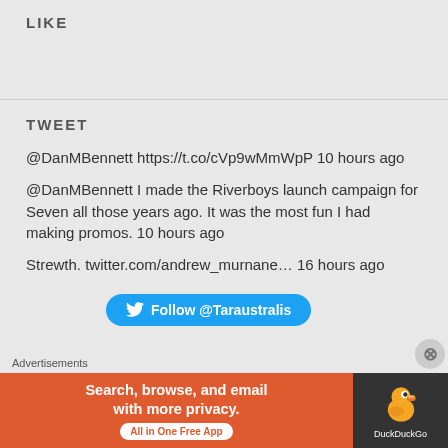LIKE
TWEET
@DanMBennett https://t.co/cVp9wMmWpP 10 hours ago
@DanMBennett I made the Riverboys launch campaign for Seven all those years ago. It was the most fun I had making promos. 10 hours ago
Strewth. twitter.com/andrew_murnane… 16 hours ago
[Figure (other): Blue Twitter Follow button with bird icon: Follow @Taraustralis]
Advertisements
[Figure (other): DuckDuckGo advertisement banner: Search, browse, and email with more privacy. All in One Free App. DuckDuckGo logo on dark background.]